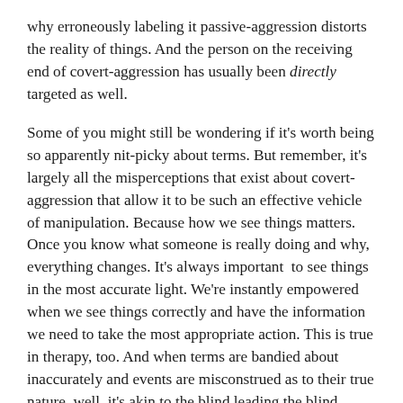why erroneously labeling it passive-aggression distorts the reality of things.  And the person on the receiving end of covert-aggression has usually been directly targeted as well.
Some of you might still be wondering if it's worth being so apparently nit-picky about terms.  But remember, it's largely all the misperceptions that exist about covert-aggression that allow it to be such an effective vehicle of manipulation.  Because how we see things matters.  Once you know what someone is really doing and why, everything changes.  It's always important  to see things in the most accurate light.  We're instantly empowered when we see things correctly and have the information we need to take the most appropriate action.  This is true in therapy, too.  And when terms are bandied about inaccurately and events are misconstrued as to their true nature, well, it's akin to the blind leading the blind.